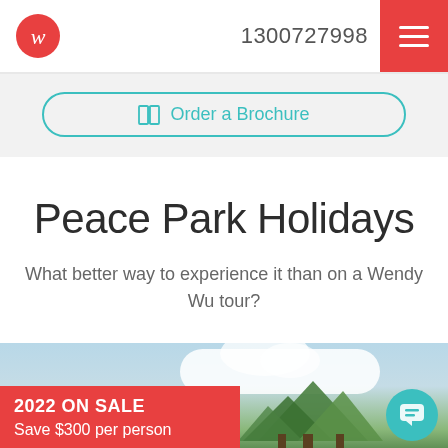1300727998
Order a Brochure
Peace Park Holidays
What better way to experience it than on a Wendy Wu tour?
[Figure (photo): Outdoor scene with blue sky, white clouds, and green trees. Red sale banner overlay reading '2022 ON SALE Save $300 per person'.]